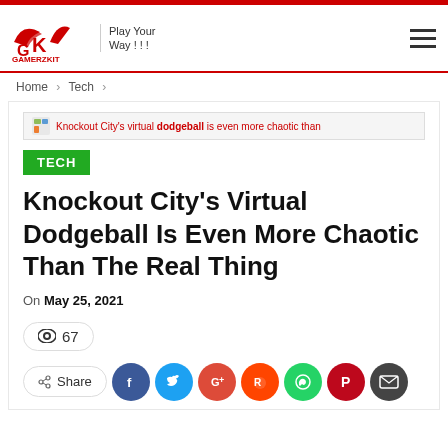GAMERZKIT — Play Your Way!!!
Home > Tech >
Knockout City's virtual dodgeball is even more chaotic than
TECH
Knockout City's Virtual Dodgeball Is Even More Chaotic Than The Real Thing
On May 25, 2021
67
Share